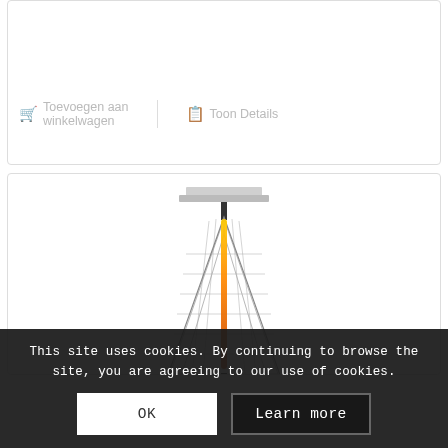Terrasheater “Lounge”
€ 36,30 excl. BTW
🛒 Toevoegen aan winkelwagen | 📋 Toon Details
[Figure (photo): A pyramid-shaped patio heater (terrasheater) with a silver top canopy and a glowing orange flame tube in the center, metal mesh body tapering downward.]
This site uses cookies. By continuing to browse the site, you are agreeing to our use of cookies.
OK
Learn more